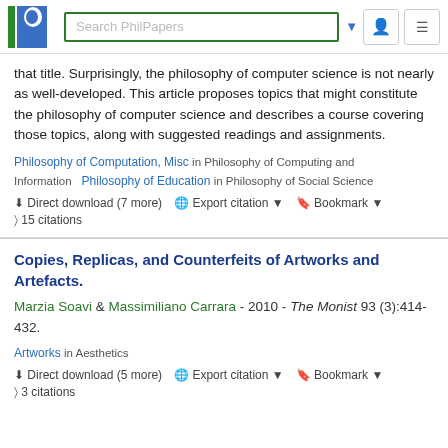Search PhilPapers
that title. Surprisingly, the philosophy of computer science is not nearly as well-developed. This article proposes topics that might constitute the philosophy of computer science and describes a course covering those topics, along with suggested readings and assignments.
Philosophy of Computation, Misc in Philosophy of Computing and Information   Philosophy of Education in Philosophy of Social Science
Direct download (7 more)  Export citation  Bookmark  15 citations
Copies, Replicas, and Counterfeits of Artworks and Artefacts.
Marzia Soavi & Massimiliano Carrara - 2010 - The Monist 93 (3):414-432.
Artworks in Aesthetics
Direct download (5 more)  Export citation  Bookmark  3 citations